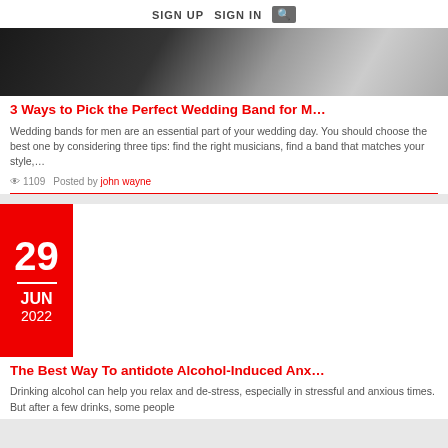SIGN UP  SIGN IN  [search]
[Figure (photo): Article thumbnail image for wedding band article, dark background with partial view]
3 Ways to Pick the Perfect Wedding Band for M…
Wedding bands for men are an essential part of your wedding day. You should choose the best one by considering three tips: find the right musicians, find a band that matches your style,…
👁 1109   Posted by john wayne
[Figure (photo): Article thumbnail with date badge showing 29 JUN 2022, and photo of man drinking alcohol from a bottle tilted up]
The Best Way To antidote Alcohol-Induced Anx…
Drinking alcohol can help you relax and de-stress, especially in stressful and anxious times. But after a few drinks, some people